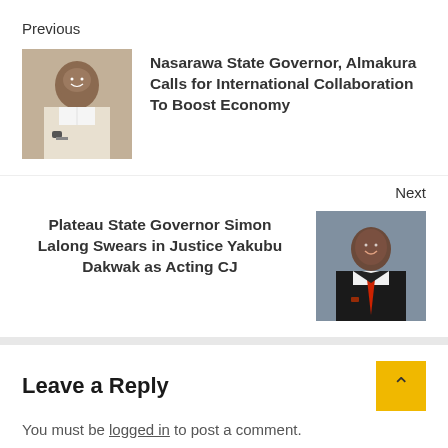Previous
[Figure (photo): Portrait photo of a man in white traditional attire, smiling]
Nasarawa State Governor, Almakura Calls for International Collaboration To Boost Economy
Next
Plateau State Governor Simon Lalong Swears in Justice Yakubu Dakwak as Acting CJ
[Figure (photo): Professional portrait of a man in black suit and red tie, smiling]
Leave a Reply
You must be logged in to post a comment.